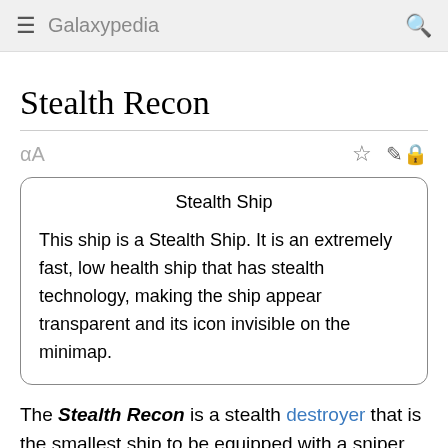Galaxypedia
Stealth Recon
Stealth Ship

This ship is a Stealth Ship. It is an extremely fast, low health ship that has stealth technology, making the ship appear transparent and its icon invisible on the minimap.
The Stealth Recon is a stealth destroyer that is the smallest ship to be equipped with a sniper turret.
The Stealth Recon